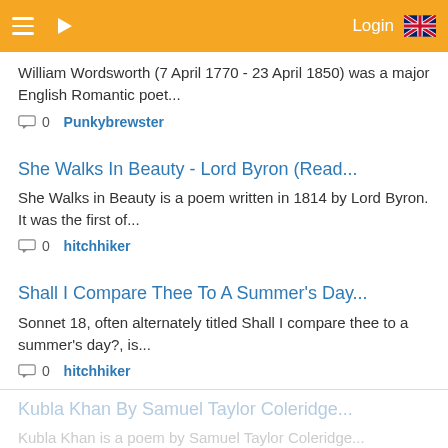Login
William Wordsworth (7 April 1770 - 23 April 1850) was a major English Romantic poet...
0  Punkybrewster
She Walks In Beauty - Lord Byron (Read...
She Walks in Beauty is a poem written in 1814 by Lord Byron. It was the first of...
0  hitchhiker
Shall I Compare Thee To A Summer's Day...
Sonnet 18, often alternately titled Shall I compare thee to a summer's day?, is...
0  hitchhiker
Kubla Khan By Samuel Taylor Coleridge...
Kubla Khan is a poem by Samuel Taylor Coleridge...